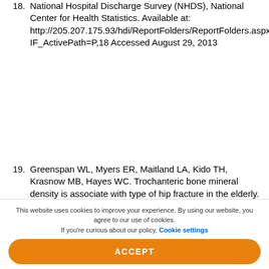18. National Hospital Discharge Survey (NHDS), National Center for Health Statistics. Available at: http://205.207.175.93/hdi/ReportFolders/ReportFolders.aspx?IF_ActivePath=P,18 Accessed August 29, 2013
19. Greenspan WL, Myers ER, Maitland LA, Kido TH, Krasnow MB, Hayes WC. Trochanteric bone mineral density is associate with type of hip fracture in the elderly. Bone and Mineral 1994;0:1980–94
This website uses cookies to improve your experience. By using our website, you agree to our use of cookies. If you're curious about our policy, Cookie settings
ACCEPT